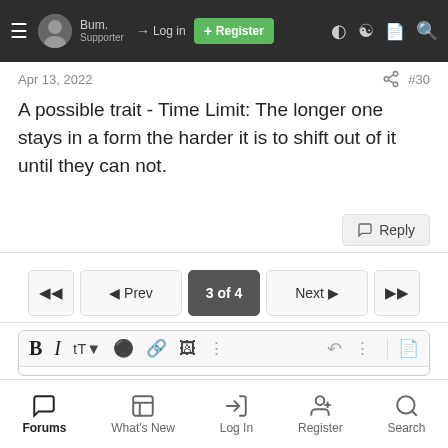Bum. Supporter | Log in | Register
Apr 13, 2022  #30
A possible trait - Time Limit: The longer one stays in a form the harder it is to shift out of it until they can not.
Reply
3 of 4 | Prev | Next
[Figure (screenshot): Forum text editor with toolbar (Bold, Italic, font size, color, link, image, more options) and reply text area with placeholder 'Write your reply...']
Forums  What's New  Log In  Register  Search